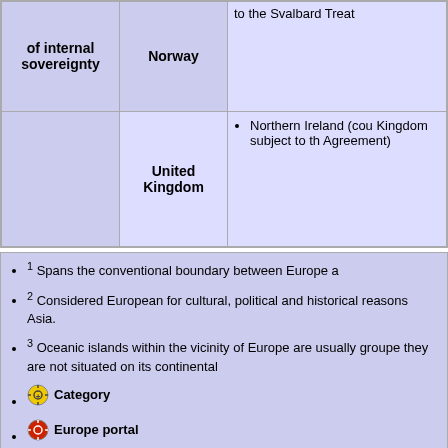| of internal sovereignty | Norway / United Kingdom | Details |
| --- | --- | --- |
|  | Norway | to the Svalbard Treat |
|  | United Kingdom | Northern Ireland (cou Kingdom subject to th Agreement) |
1 Spans the conventional boundary between Europe a
2 Considered European for cultural, political and historical reasons Asia.
3 Oceanic islands within the vicinity of Europe are usually groupe they are not situated on its continental
Category
Europe portal
v
t
e (https://en.wikipedia.org/w/index.php?title=Template:Europe_t
Europe articles
Prehistory